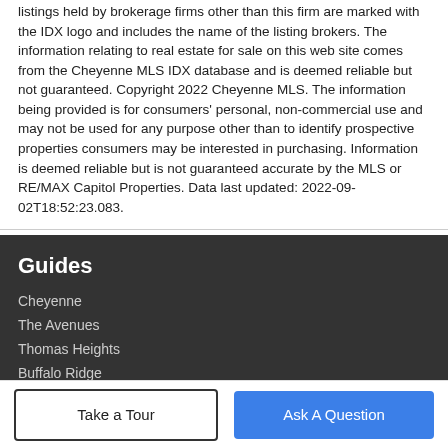listings held by brokerage firms other than this firm are marked with the IDX logo and includes the name of the listing brokers. The information relating to real estate for sale on this web site comes from the Cheyenne MLS IDX database and is deemed reliable but not guaranteed. Copyright 2022 Cheyenne MLS. The information being provided is for consumers' personal, non-commercial use and may not be used for any purpose other than to identify prospective properties consumers may be interested in purchasing. Information is deemed reliable but is not guaranteed accurate by the MLS or RE/MAX Capitol Properties. Data last updated: 2022-09-02T18:52:23.083.
Guides
Cheyenne
The Avenues
Thomas Heights
Buffalo Ridge